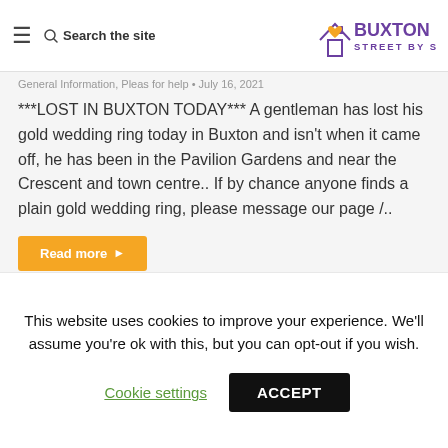≡  Search the site  |  BUXTON STREET BY STREET
General Information, Pleas for help • July 16, 2021
***LOST IN BUXTON TODAY*** A gentleman has lost his gold wedding ring today in Buxton and isn't when it came off, he has been in the Pavilion Gardens and near the Crescent and town centre.. If by chance anyone finds a plain gold wedding ring, please message our page /..
Read more ▶
This website uses cookies to improve your experience. We'll assume you're ok with this, but you can opt-out if you wish.
Cookie settings   ACCEPT